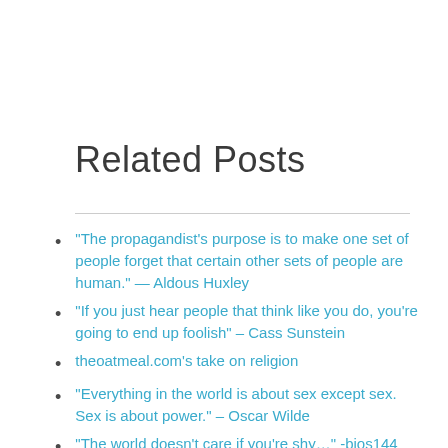Related Posts
"The propagandist’s purpose is to make one set of people forget that certain other sets of people are human." — Aldous Huxley
"If you just hear people that think like you do, you’re going to end up foolish" – Cass Sunstein
theoatmeal.com’s take on religion
“Everything in the world is about sex except sex. Sex is about power.” – Oscar Wilde
"The world doesn’t care if you’re shy…" -bjos144